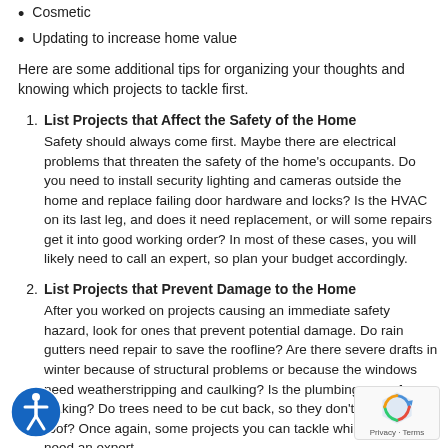Cosmetic
Updating to increase home value
Here are some additional tips for organizing your thoughts and knowing which projects to tackle first.
1. List Projects that Affect the Safety of the Home – Safety should always come first. Maybe there are electrical problems that threaten the safety of the home's occupants. Do you need to install security lighting and cameras outside the home and replace failing door hardware and locks? Is the HVAC on its last leg, and does it need replacement, or will some repairs get it into good working order? In most of these cases, you will likely need to call an expert, so plan your budget accordingly.
2. List Projects that Prevent Damage to the Home – After you worked on projects causing an immediate safety hazard, look for ones that prevent potential damage. Do rain gutters need repair to save the roofline? Are there severe drafts in winter because of structural problems or because the windows need weatherstripping and caulking? Is the plumbing or roof leaking? Do trees need to be cut back, so they don't damage the roof? Once again, some projects you can tackle while others will need an expert.